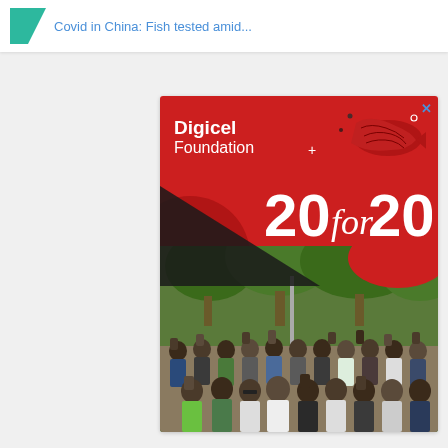Covid in China: Fish tested amid...
[Figure (advertisement): Digicel Foundation 20for20 Community Grants Program advertisement banner featuring a red and white graphic design with '20for20' text and a photograph of a large group of people raising their fists outdoors with green trees in the background.]